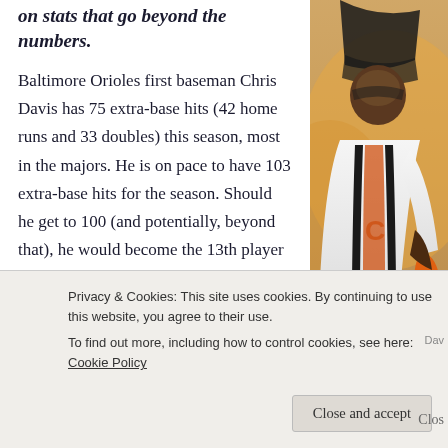on stats that go beyond the numbers.
Baltimore Orioles first baseman Chris Davis has 75 extra-base hits (42 home runs and 33 doubles) this season, most in the majors. He is on pace to have 103 extra-base hits for the season. Should he get to 100 (and potentially, beyond that), he would become the 13th player in baseball history to have 100-plus extra-base hits in a season (three players accomplished the feat twice in their
[Figure (photo): Baltimore Orioles player Chris Davis in white jersey and orange batting gloves]
Privacy & Cookies: This site uses cookies. By continuing to use this website, you agree to their use.
To find out more, including how to control cookies, see here: Cookie Policy